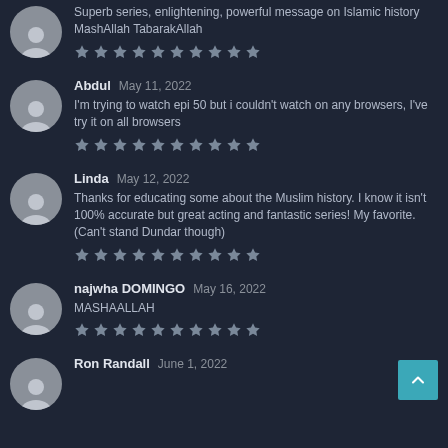Superb series, enlightening, powerful message on Islamic history MashAllah TabarakAllah
★★★★★★★★★★
Abdul  May 11, 2022
I'm trying to watch epi 50 but i couldn't watch on any browsers, I've try it on all browsers
★★★★★★★★★★
Linda  May 12, 2022
Thanks for educating some about the Muslim history. I know it isn't 100% accurate but great acting and fantastic series! My favorite. (Can't stand Dundar though)
★★★★★★★★★★
najwha DOMINGO  May 16, 2022
MASHAALLAH
★★★★★★★★★★
Ron Randall  June 1, 2022